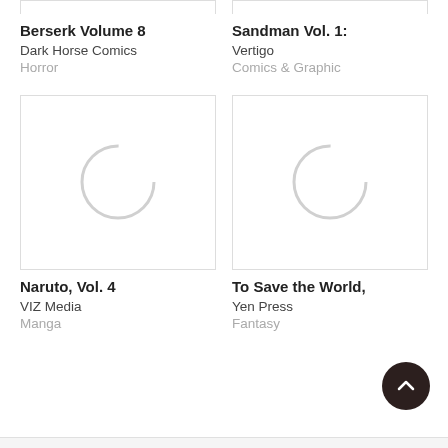[Figure (illustration): Partial top of book cover for Berserk Volume 8 (cropped, white rectangle with border)]
[Figure (illustration): Partial top of book cover for Sandman Vol. 1 (cropped, white rectangle with border)]
Berserk Volume 8
Dark Horse Comics
Horror
Sandman Vol. 1:
Vertigo
Vertigo
Comics & Graphic
[Figure (illustration): Book cover placeholder for Naruto Vol. 4 — white rectangle with light gray circular loading spinner]
[Figure (illustration): Book cover placeholder for To Save the World — white rectangle with light gray circular loading spinner]
Naruto, Vol. 4
VIZ Media
Manga
To Save the World,
Yen Press
Fantasy